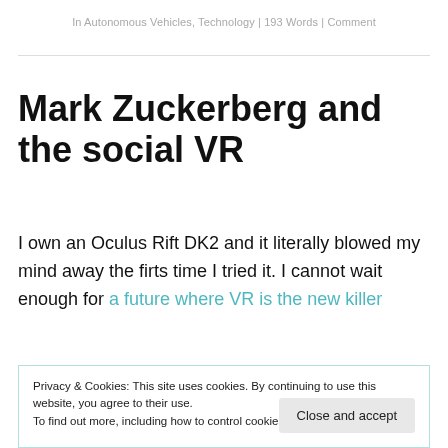In Autonomous Vehicles, Technology | 193 Words | Comment
Mark Zuckerberg and the social VR
I own an Oculus Rift DK2 and it literally blowed my mind away the firts time I tried it. I cannot wait enough for a future where VR is the new killer
Privacy & Cookies: This site uses cookies. By continuing to use this website, you agree to their use.
To find out more, including how to control cookies, see here: Cookie Policy
Close and accept